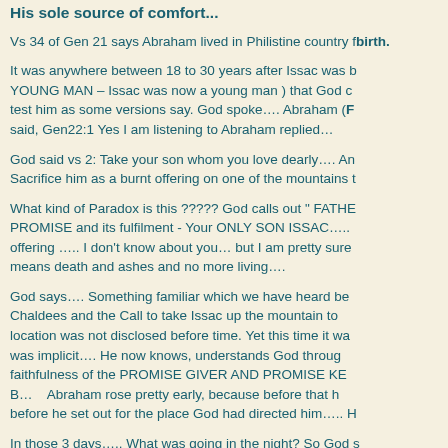His sole source of comfort...
Vs 34 of Gen 21 says Abraham lived in Philistine country for a long time after Issac's birth.
It was anywhere between 18 to 30 years after Issac was born (He was a YOUNG MAN – Issac was now a young man ) that God called Abraham to test him as some versions say. God spoke…. Abraham (Father of Many) said, Gen22:1 Yes I am listening to Abraham replied…
God said vs 2: Take your son whom you love dearly…. And go and Sacrifice him as a burnt offering on one of the mountains I will show you.
What kind of Paradox is this ????? God calls out " FATHER OF MANY" PROMISE and its fulfilment - Your ONLY SON ISSAC….. As a burnt offering ….. I don't know about you… but I am pretty sure burnt offering means death and ashes and no more living….
God says…. Something familiar which we have heard before…. Ur of Chaldees and the Call to take Issac up the mountain to sacrifice, the location was not disclosed before time. Yet this time it was different…. It was implicit…. He now knows, understands God through the proven faithfulness of the PROMISE GIVER AND PROMISE KEEPER …. PLAN B…    Abraham rose pretty early, because before that he had prepared, before he set out for the place God had directed him….. H
In those 3 days….. What was going in the night? So God s